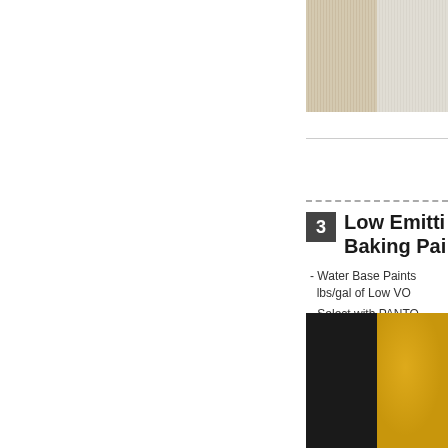[Figure (illustration): Two partially visible color swatches at top right: one tan/beige wood-grain texture and one lighter gray-beige wood-grain texture]
3 Low Emitting Baking Paint
- Water Base Paints lbs/gal of Low VOC
- Select with PANTONE
- GREENGUARD C
[Figure (illustration): Two color swatches at bottom right: one matte black rectangular swatch and one gold/yellow metallic swatch]